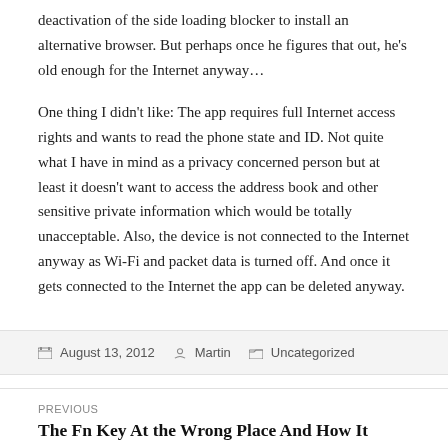deactivation of the side loading blocker to install an alternative browser. But perhaps once he figures that out, he's old enough for the Internet anyway…
One thing I didn't like: The app requires full Internet access rights and wants to read the phone state and ID. Not quite what I have in mind as a privacy concerned person but at least it doesn't want to access the address book and other sensitive private information which would be totally unacceptable. Also, the device is not connected to the Internet anyway as Wi-Fi and packet data is turned off. And once it gets connected to the Internet the app can be deleted anyway.
August 13, 2012   Martin   Uncategorized
PREVIOUS
The Fn Key At the Wrong Place And How It Helped Virtualization